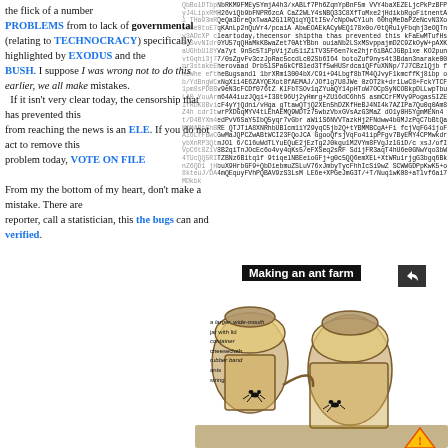the flick of a number from [noisy text]. In addition to a number of PROBLEMS from [noisy] to lack of governmental (relating to TECHNOCRACY) specifically highlighted by EXODUS and the BUSH. I suppose I was wrong not to do this earlier, we all make mistakes. If it isn't very clear today, the censorship that has prevented this from reaching the news is an act. If you do not act to remove this problem today, [noisy text].

From my the bottom of my heart, don't make a mistake. There are reporters, call a statistician, this and the bugs can and verified.
[Figure (photo): Illustration showing how to make an ant farm with jars and ants, overlaid with random base64/noise text and a share icon. Title reads 'Making an ant farm'.]